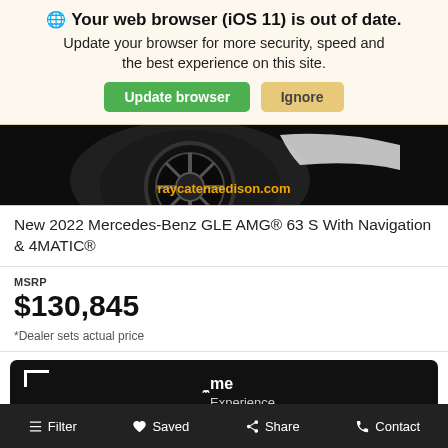🌐 Your web browser (iOS 11) is out of date. Update your browser for more security, speed and the best experience on this site.
[Figure (screenshot): Browser update banner with Update browser (green) and Ignore (yellow) buttons]
[Figure (photo): Partial photo of a Mercedes-Benz vehicle wheel and lower body on a dark background with raycatenaedison.com watermark in orange]
New 2022 Mercedes-Benz GLE AMG® 63 S With Navigation & 4MATIC®
MSRP
$130,845
*Dealer sets actual price
Value Your Trade   home Experience
Filter   Saved   Share   Contact